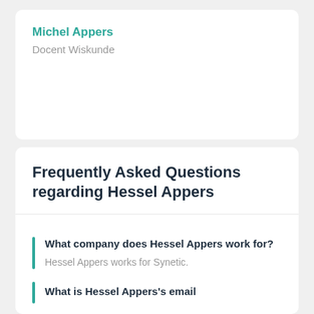Michel Appers
Docent Wiskunde
Frequently Asked Questions regarding Hessel Appers
What company does Hessel Appers work for?
Hessel Appers works for Synetic.
What is Hessel Appers's email